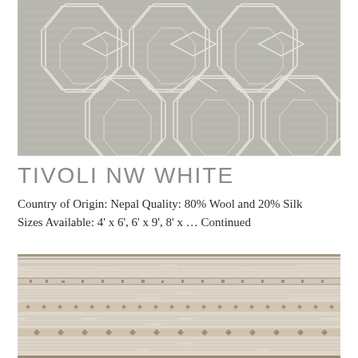[Figure (photo): Close-up photo of a gray rug with geometric hexagonal/octagonal trellis pattern in white/cream lines on a silvery-gray textured background.]
TIVOLI NW WHITE
Country of Origin: Nepal Quality: 80% Wool and 20% Silk Sizes Available: 4' x 6', 6' x 9', 8' x ... Continued
[Figure (photo): Close-up photo of a cream/beige distressed rug with horizontal stripe patterns and small geometric motifs in muted brown and gray tones.]